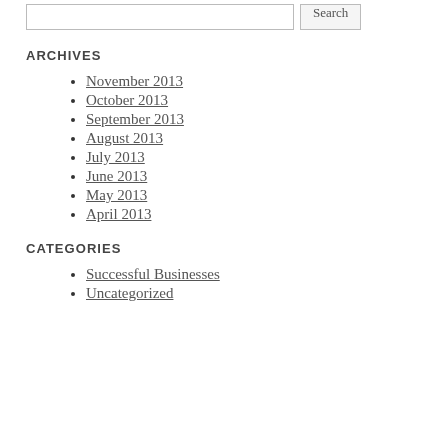ARCHIVES
November 2013
October 2013
September 2013
August 2013
July 2013
June 2013
May 2013
April 2013
CATEGORIES
Successful Businesses
Uncategorized